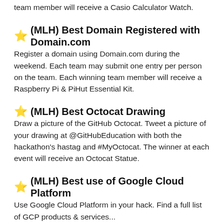team member will receive a Casio Calculator Watch.
⭐ (MLH) Best Domain Registered with Domain.com
Register a domain using Domain.com during the weekend. Each team may submit one entry per person on the team. Each winning team member will receive a Raspberry Pi & PiHut Essential Kit.
⭐ (MLH) Best Octocat Drawing
Draw a picture of the GitHub Octocat. Tweet a picture of your drawing at @GitHubEducation with both the hackathon's hastag and #MyOctocat. The winner at each event will receive an Octocat Statue.
⭐ (MLH) Best use of Google Cloud Platform
Use Google Cloud Platform in your hack. Find a full list of GCP products & services...